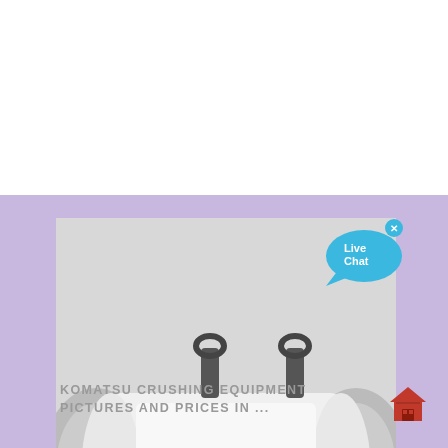[Figure (photo): Close-up photo of Komatsu crushing equipment showing a large cylindrical white drum/roll mounted on a red base frame, with mechanical components visible on both sides. An AMC watermark logo appears in the bottom-right of the image. A 'Live Chat' speech bubble widget is overlaid in the top-right corner of the photo.]
KOMATSU CRUSHING EQUIPMENT PICTURES AND PRICES IN ...